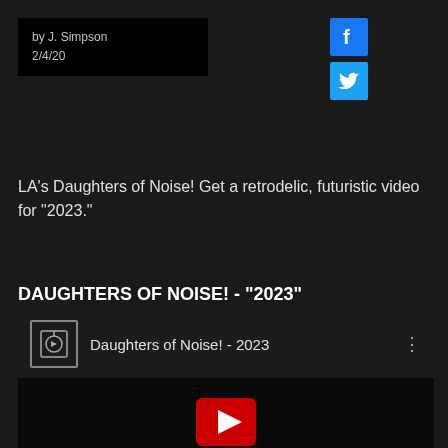by J. Simpson
2/4/20
[Figure (illustration): Facebook social media icon - blue square with white F]
[Figure (illustration): Twitter social media icon - light blue square with white bird]
LA's Daughters of Noise! Get a retrodelic, futuristic video for "2023."
DAUGHTERS OF NOISE! - "2023"
[Figure (screenshot): Embedded video player showing Daughters of Noise! - 2023 with channel logo, title, options menu dots, and YouTube play button on dark background]